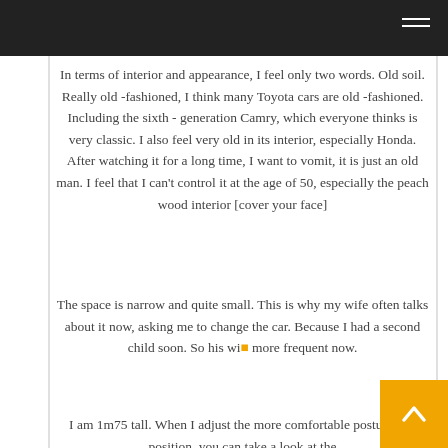In terms of interior and appearance, I feel only two words. Old soil. Really old -fashioned, I think many Toyota cars are old -fashioned. Including the sixth - generation Camry, which everyone thinks is very classic. I also feel very old in its interior, especially Honda. After watching it for a long time, I want to vomit, it is just an old man. I feel that I can't control it at the age of 50, especially the peach wood interior [cover your face]
The space is narrow and quite small. This is why my wife often talks about it now, asking me to change the car. Because I had a second child soon. So his wife is more frequent now.
I am 1m75 tall. When I adjust the more comfortable posture and position, you can take a look at the